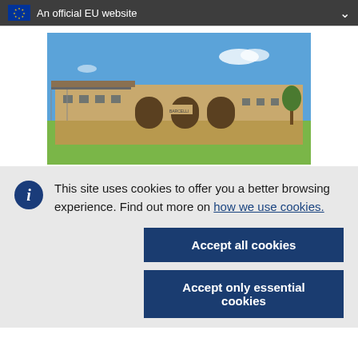An official EU website
[Figure (photo): Exterior photo of a modern low-rise building with stone facade, arched openings, and a clear blue sky background. Trees visible on the right side.]
This site uses cookies to offer you a better browsing experience. Find out more on how we use cookies.
Accept all cookies
Accept only essential cookies